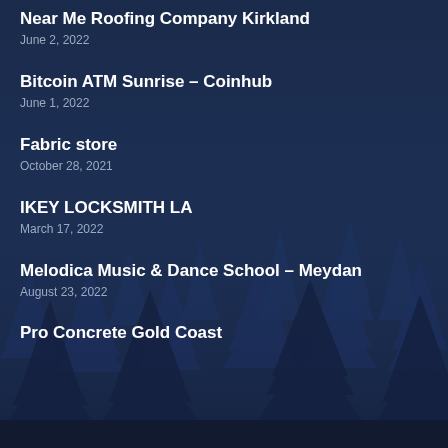Near Me Roofing Company Kirkland
June 2, 2022
Bitcoin ATM Sunrise – Coinhub
June 1, 2022
Fabric store
October 28, 2021
IKEY LOCKSMITH LA
March 17, 2022
Melodica Music & Dance School – Meydan
August 23, 2022
Pro Concrete Gold Coast